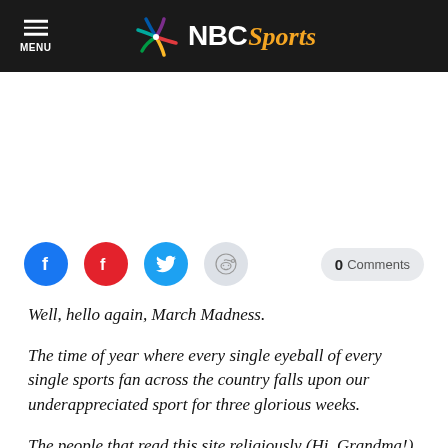NBC Sports
[Figure (other): Advertisement / blank white space area]
[Figure (other): Social sharing icons: Facebook, Flipboard, Twitter, Reddit; and a 0 Comments button]
Well, hello again, March Madness.
The time of year where every single eyeball of every single sports fan across the country falls upon our underappreciated sport for three glorious weeks.
The people that read this site religiously (Hi, Grandma!)